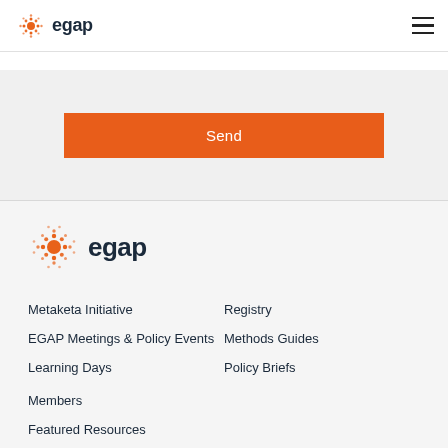egap
Send
[Figure (logo): EGAP logo with orange sunburst and dark blue 'egap' text]
Metaketa Initiative
Registry
EGAP Meetings & Policy Events
Methods Guides
Learning Days
Policy Briefs
Members
Featured Resources
Contact